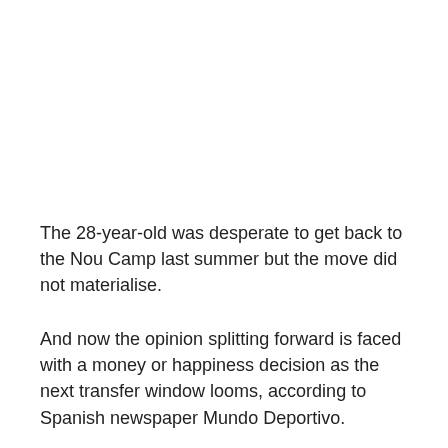The 28-year-old was desperate to get back to the Nou Camp last summer but the move did not materialise.
And now the opinion splitting forward is faced with a money or happiness decision as the next transfer window looms, according to Spanish newspaper Mundo Deportivo.